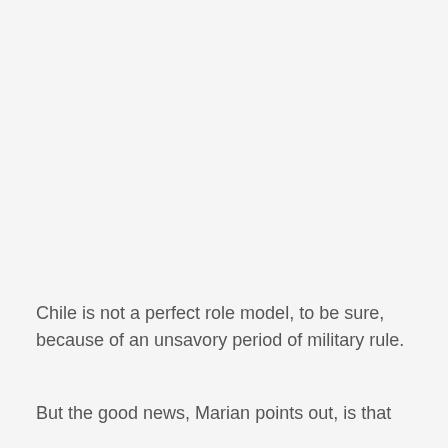Chile is not a perfect role model, to be sure, because of an unsavory period of military rule.
But the good news, Marian points out, is that